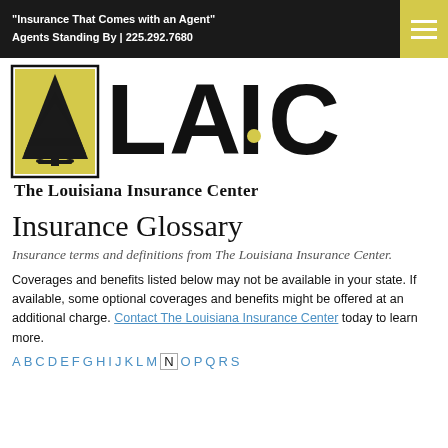"Insurance That Comes with an Agent"
Agents Standing By | 225.292.7680
[Figure (logo): The Louisiana Insurance Center (LAIC) logo: yellow rectangle with black tree silhouette on left, bold 'LAIC' text on right with yellow dot in the 'i', company name 'The Louisiana Insurance Center' below]
Insurance Glossary
Insurance terms and definitions from The Louisiana Insurance Center.
Coverages and benefits listed below may not be available in your state. If available, some optional coverages and benefits might be offered at an additional charge. Contact The Louisiana Insurance Center today to learn more.
A B C D E F G H I J K L M N O P Q R S